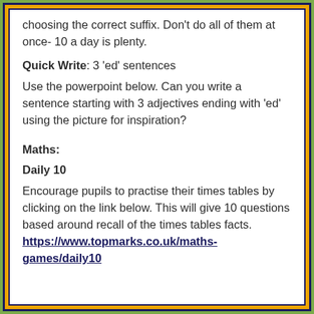choosing the correct suffix. Don't do all of them at once- 10 a day is plenty.
Quick Write: 3 'ed' sentences
Use the powerpoint below. Can you write a sentence starting with 3 adjectives ending with 'ed' using the picture for inspiration?
Maths:
Daily 10
Encourage pupils to practise their times tables by clicking on the link below. This will give 10 questions based around recall of the times tables facts.
https://www.topmarks.co.uk/maths-games/daily10